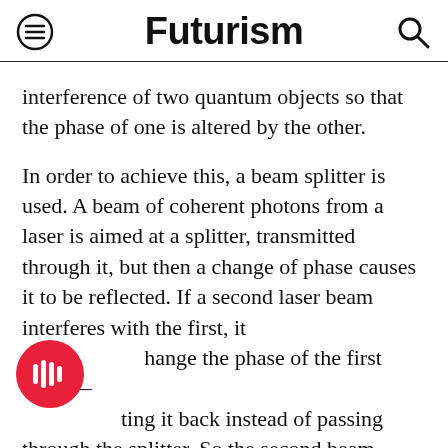Futurism
interference of two quantum objects so that the phase of one is altered by the other.
In order to achieve this, a beam splitter is used. A beam of coherent photons from a laser is aimed at a splitter, transmitted through it, but then a change of phase causes it to be reflected. If a second laser beam interferes with the first, it will change the phase of the first beam—routing it back instead of passing through the splitter. So the second beam controls whether the first is reflected or not. This "switching beam" does not need to be as powerful as the main beam, but it does need to be coherent—